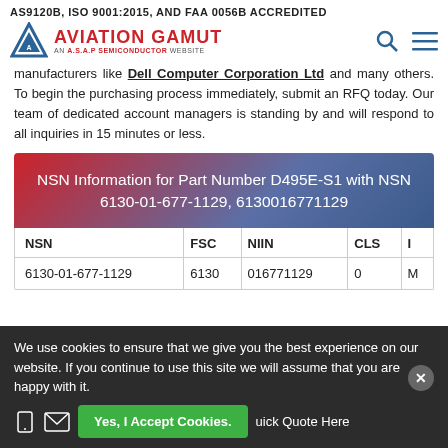AS9120B, ISO 9001:2015, AND FAA 0056B ACCREDITED
[Figure (logo): Aviation Gamut logo with red triangle and text 'AVIATION GAMUT — AN A.S.A.P SEMICONDUCTOR WEBSITE' with search and menu icons]
manufacturers like Dell Computer Corporation Ltd and many others. To begin the purchasing process immediately, submit an RFQ today. Our team of dedicated account managers is standing by and will respond to all inquiries in 15 minutes or less.
NSN Information for Part Number D495E-S1 with NSN 6130-01-677-1129, 6130016771129
| NSN | FSC | NIIN | CLS | ... |
| --- | --- | --- | --- | --- |
| 6130-01-677-1129 | 6130 | 016771129 | 0 | ... |
We use cookies to ensure that we give you the best experience on our website. If you continue to use this site we will assume that you are happy with it.